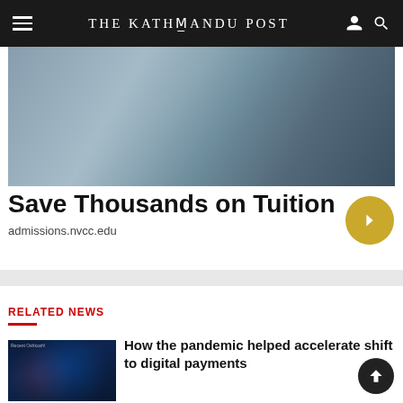THE KATHMANDU POST
[Figure (photo): Photograph of two people shaking hands, partially visible, blue-gray tones, advertisement image for NVCC admissions.]
Save Thousands on Tuition
admissions.nvcc.edu
RELATED NEWS
[Figure (photo): Thumbnail photo showing a person holding a tablet with digital payment or technology imagery, dark blue tones with glowing light effects.]
How the pandemic helped accelerate shift to digital payments